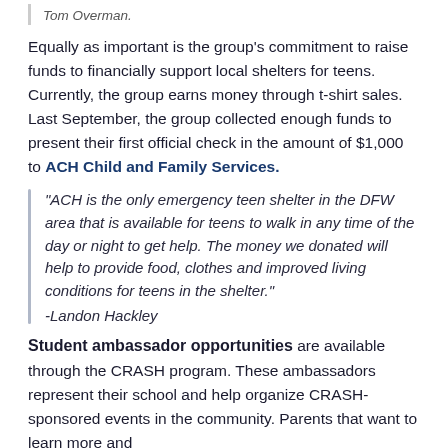Tom Overman.
Equally as important is the group's commitment to raise funds to financially support local shelters for teens. Currently, the group earns money through t-shirt sales. Last September, the group collected enough funds to present their first official check in the amount of $1,000 to ACH Child and Family Services.
“ACH is the only emergency teen shelter in the DFW area that is available for teens to walk in any time of the day or night to get help. The money we donated will help to provide food, clothes and improved living conditions for teens in the shelter.”
-Landon Hackley
Student ambassador opportunities are available through the CRASH program. These ambassadors represent their school and help organize CRASH-sponsored events in the community. Parents that want to learn more and